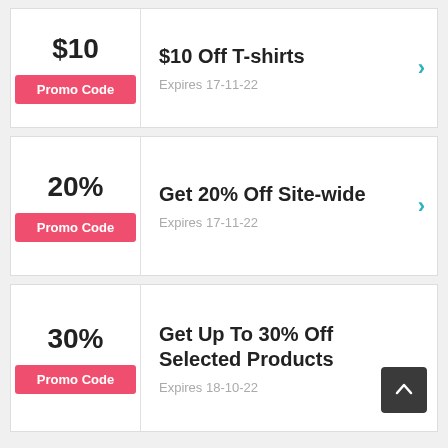$10
Promo Code
$10 Off T-shirts
Expires 17-11-22
20%
Promo Code
Get 20% Off Site-wide
Expires 17-11-22
30%
Promo Code
Get Up To 30% Off Selected Products
Expires 18-10-22